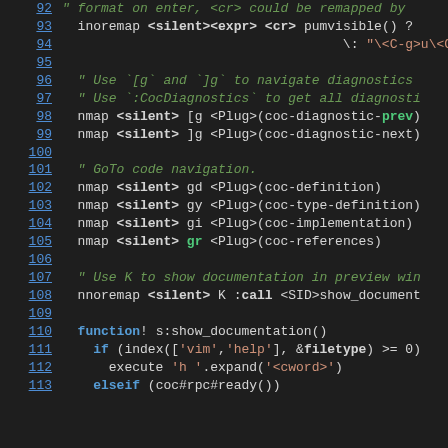[Figure (screenshot): Source code screenshot showing VimScript/Vim configuration code, lines 92-113, with syntax highlighting on a dark background. Line numbers are shown in blue on the left. Code includes key mappings for coc.nvim plugin and a show_documentation function.]